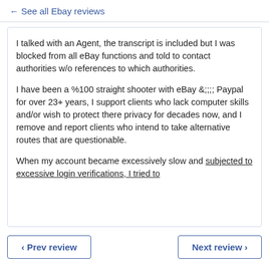← See all Ebay reviews
I talked with an Agent, the transcript is included but I was blocked from all eBay functions and told to contact authorities w/o references to which authorities.
I have been a %100 straight shooter with eBay &;;;;; Paypal for over 23+ years, I support clients who lack computer skills and/or wish to protect there privacy for decades now, and I remove and report clients who intend to take alternative routes that are questionable.
When my account became excessively slow and subjected to excessive login verifications, I tried to
‹ Prev review    Next review ›